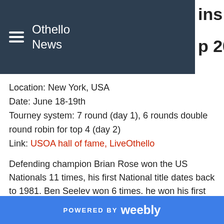Othello News | wins US National p 2016
Location: New York, USA
Date: June 18-19th
Tourney system: 7 round (day 1), 6 rounds double round robin for top 4 (day 2)
Link: USOA hall of fame, LiveOthello
Defending champion Brian Rose won the US Nationals 11 times, his first National title dates back to 1981. Ben Seeley won 6 times, he won his first title in 2001.
The standings after day 1:
1-2 Seeley, Ben 1945 6 477.0
Chitra, Yohanes 1581 6 398.0
3-4 Rose, Brian 1775 4 388.0
Kierulf, Anders 1200 4 376.0
5 Rose, Joseph 1513 3 333.0
POWERED BY weebly